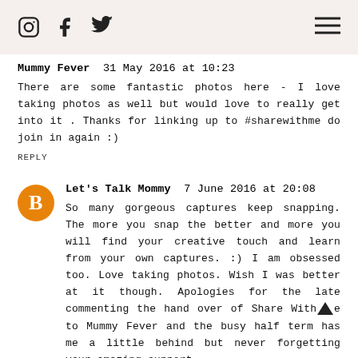Instagram, Facebook, Twitter, Menu
Mummy Fever 31 May 2016 at 10:23
There are some fantastic photos here - I love taking photos as well but would love to really get into it . Thanks for linking up to #sharewithme do join in again :)
REPLY
Let's Talk Mommy 7 June 2016 at 20:08
So many gorgeous captures keep snapping. The more you snap the better and more you will find your creative touch and learn from your own captures. :) I am obsessed too. Love taking photos. Wish I was better at it though. Apologies for the late commenting the hand over of Share With Me to Mummy Fever and the busy half term has me a little behind but never forgetting your amazing support